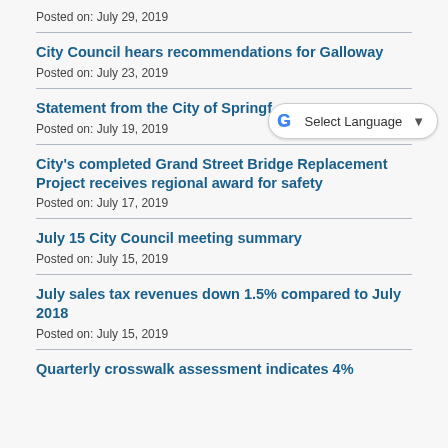Posted on: July 29, 2019
City Council hears recommendations for Galloway
Posted on: July 23, 2019
Statement from the City of Spring…
Posted on: July 19, 2019
City's completed Grand Street Bridge Replacement Project receives regional award for safety
Posted on: July 17, 2019
July 15 City Council meeting summary
Posted on: July 15, 2019
July sales tax revenues down 1.5% compared to July 2018
Posted on: July 15, 2019
Quarterly crosswalk assessment indicates 4%